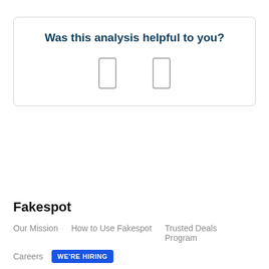Was this analysis helpful to you?
[Figure (other): Two thumbs up/down icon buttons rendered as outline rectangles side by side]
Fakespot
Our Mission
How to Use Fakespot
Trusted Deals Program
Careers
WE'RE HIRING